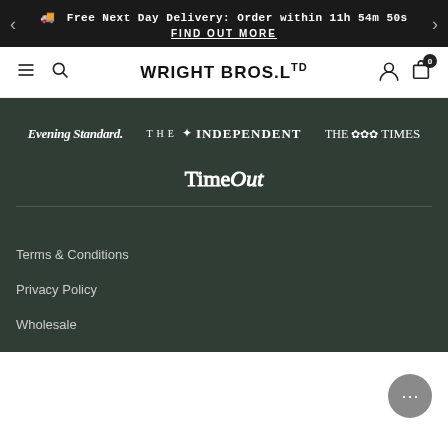Free Next Day Delivery: Order within 11h 54m 50s
FIND OUT MORE
WRIGHT BROS. LTD
[Figure (logo): Evening Standard logo in white italic serif font]
[Figure (logo): The Independent logo in white serif font with eagle]
[Figure (logo): The Times logo in white serif font with crest]
[Figure (logo): Time Out logo in white outlined serif font]
Terms & Conditions
Privacy Policy
Wholesale